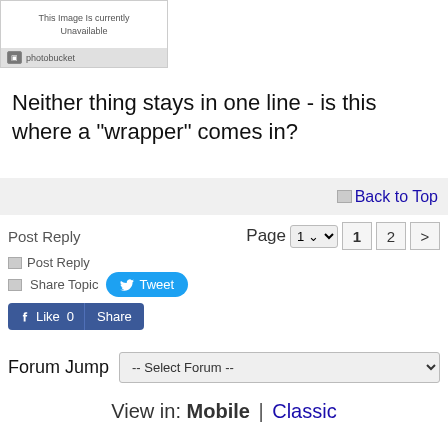[Figure (other): Photobucket image placeholder showing 'This Image Is Currently Unavailable' with photobucket logo]
Neither thing stays in one line - is this where a "wrapper" comes in?
Back to Top
Post Reply
Page 1 2 >
Post Reply
Share Topic
Tweet
Like 0   Share
Forum Jump -- Select Forum --
View in: Mobile | Classic